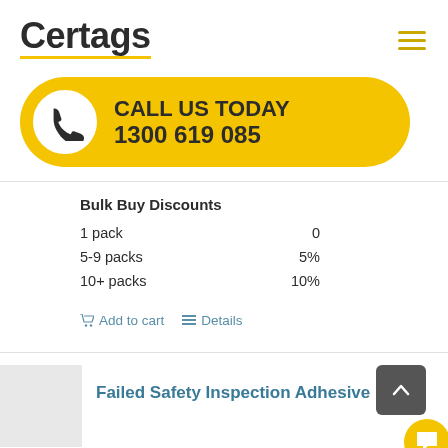[Figure (logo): Certags logo with yellow underline and hamburger menu icon]
[Figure (infographic): Yellow pill-shaped call-to-action banner with phone icon: CALL US TODAY 1300 619 085]
Bulk Buy Discounts
1 pack    0
5-9 packs    5%
10+ packs    10%
Add to cart    Details
Failed Safety Inspection Adhesive